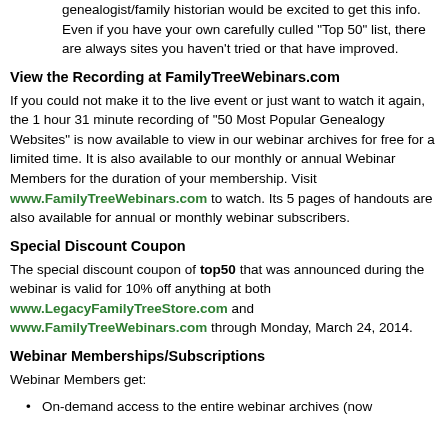genealogist/family historian would be excited to get this info. Even if you have your own carefully culled "Top 50" list, there are always sites you haven't tried or that have improved.
View the Recording at FamilyTreeWebinars.com
If you could not make it to the live event or just want to watch it again, the 1 hour 31 minute recording of "50 Most Popular Genealogy Websites" is now available to view in our webinar archives for free for a limited time. It is also available to our monthly or annual Webinar Members for the duration of your membership. Visit www.FamilyTreeWebinars.com to watch. Its 5 pages of handouts are also available for annual or monthly webinar subscribers.
Special Discount Coupon
The special discount coupon of top50 that was announced during the webinar is valid for 10% off anything at both www.LegacyFamilyTreeStore.com and www.FamilyTreeWebinars.com through Monday, March 24, 2014.
Webinar Memberships/Subscriptions
Webinar Members get:
On-demand access to the entire webinar archives (now